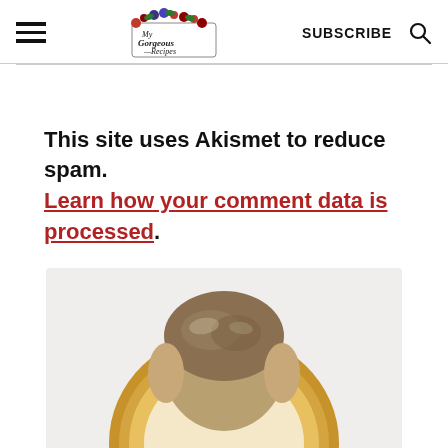My Gorgeous Recipes — SUBSCRIBE
This site uses Akismet to reduce spam. Learn how your comment data is processed.
[Figure (photo): Partial view of a person's head from above, showing hair, with a golden/tan circular plate or bowl beneath, on a light gray background.]